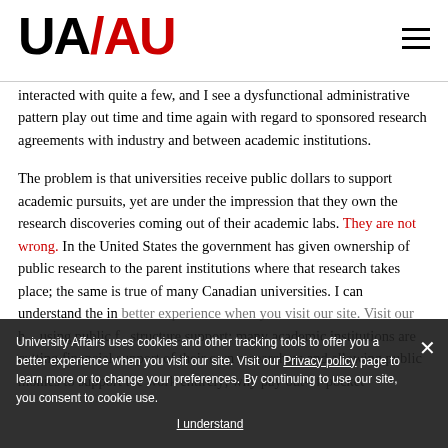UA/AU logo and navigation
interacted with quite a few, and I see a dysfunctional administrative pattern play out time and time again with regard to sponsored research agreements with industry and between academic institutions.
The problem is that universities receive public dollars to support academic pursuits, yet are under the impression that they own the research discoveries coming out of their academic labs. They are not wrong. In the United States the government has given ownership of public research to the parent institutions where that research takes place; the same is true of many Canadian universities. I can understand the in... h... using public f... structure support; many academic institutions are cutting financial support of their own researchers and allowing public monies to support the work entirely; why pay out-of-pocket
University Affairs uses cookies and other tracking tools to offer you a better experience when you visit our site. Visit our Privacy policy page to learn more or to change your preferences. By continuing to use our site, you consent to cookie use.
I understand